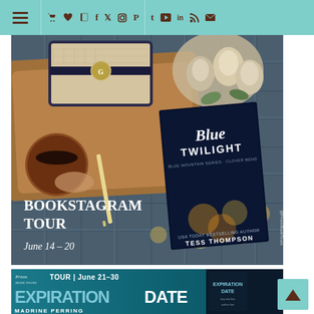Navigation bar with menu and social icons
[Figure (photo): Bookstagram Tour promotional image for 'Blue Twilight' by Tess Thompson. Shows a flatlay with a handbag/wallet, coffee cup, white roses, pencil on a wooden tray with blue plaid fabric background. Book cover visible with bokeh string lights. Text reads: BOOKSTAGRAM TOUR, June 14 - 20. Watermark: @PrismBookTours]
[Figure (photo): Tour banner for 'Expiration Date' by Madrine Perring. TOUR | June 21-30. Teal/dark cyan background with large stylized text EXPIRATION DATE and book cover on right side.]